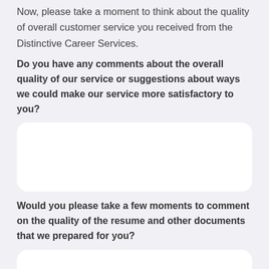Now, please take a moment to think about the quality of overall customer service you received from the Distinctive Career Services.
Do you have any comments about the overall quality of our service or suggestions about ways we could make our service more satisfactory to you?
[Figure (other): Empty text input box with rounded corners for user comments]
Would you please take a few moments to comment on the quality of the resume and other documents that we prepared for you?
[Figure (other): Empty text input box with rounded corners for user comments about resume quality]